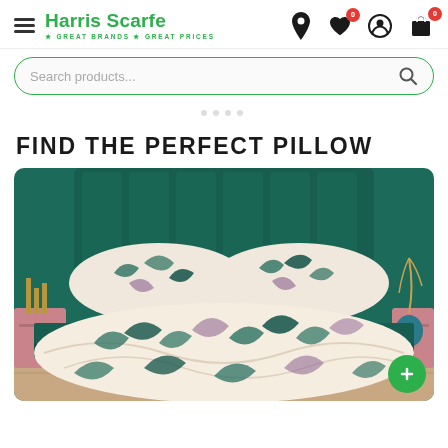Harris Scarfe — GREAT BRANDS • GREAT PRICES — navigation header with hamburger menu, location, wishlist, account, and cart icons
Search products...
FIND THE PERFECT PILLOW
[Figure (photo): A bed with tropical botanical print duvet and pillow covers in cream with green and blue-purple leaf patterns, against a dark teal/green headboard and wall. Pink bedside tables on either side, wooden parquet floor visible at bottom.]